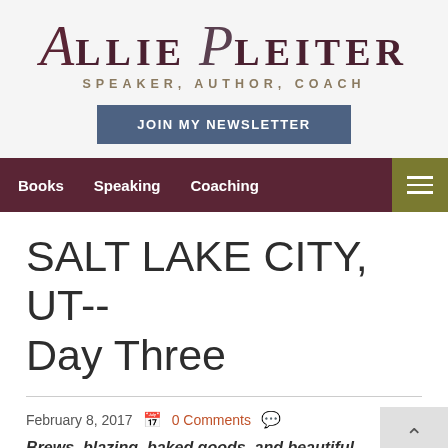Allie Pleiter – Speaker, Author, Coach
JOIN MY NEWSLETTER
Books   Speaking   Coaching
SALT LAKE CITY, UT-- Day Three
February 8, 2017   0 Comments
Brews, blazing, baked goods, and beautiful